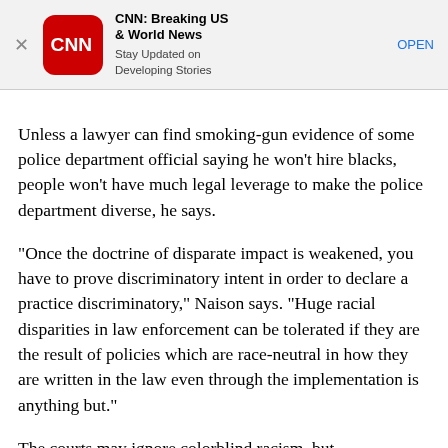[Figure (screenshot): CNN app advertisement banner with CNN logo, app name 'CNN: Breaking US & World News', tagline 'Stay Updated on Developing Stories', and an OPEN button]
Unless a lawyer can find smoking-gun evidence of some police department official saying he won't hire blacks, people won't have much legal leverage to make the police department diverse, he says.
“Once the doctrine of disparate impact is weakened, you have to prove discriminatory intent in order to declare a practice discriminatory,” Naison says. “Huge racial disparities in law enforcement can be tolerated if they are the result of policies which are race-neutral in how they are written in the law even through the implementation is anything but.”
The courts may ignore colorblind racism, but